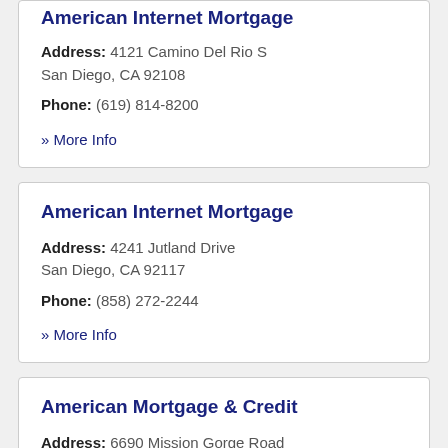American Internet Mortgage
Address: 4121 Camino Del Rio S
San Diego, CA 92108
Phone: (619) 814-8200
» More Info
American Internet Mortgage
Address: 4241 Jutland Drive
San Diego, CA 92117
Phone: (858) 272-2244
» More Info
American Mortgage & Credit
Address: 6690 Mission Gorge Road